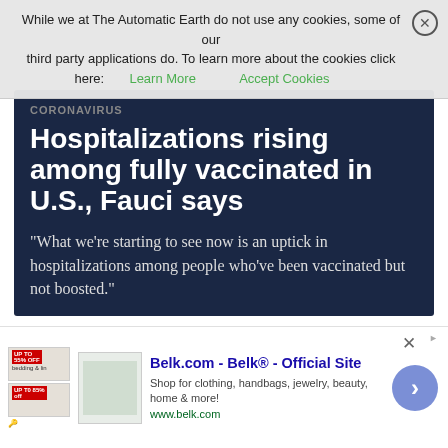While we at The Automatic Earth do not use any cookies, some of our third party applications do. To learn more about the cookies click here: Learn More  Accept Cookies
CORONAVIRUS
Hospitalizations rising among fully vaccinated in U.S., Fauci says
"What we're starting to see now is an uptick in hospitalizations among people who've been vaccinated but not boosted."
The article read: “What we’re starting to see now is an uptick in hospitalizations among people who’ve been vaccinated but not boosted.” Dr. Anthony Fauci, the director of the National Institute for
Belk.com - Belk® - Official Site
Shop for clothing, handbags, jewelry, beauty, home & more!
www.belk.com